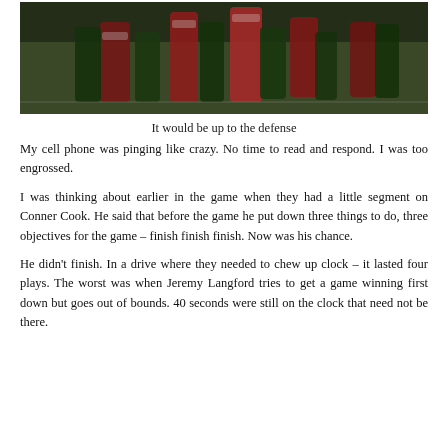[Figure (photo): Football players in a game, players in red and green uniforms in action on the field]
It would be up to the defense
My cell phone was pinging like crazy. No time to read and respond. I was too engrossed.
I was thinking about earlier in the game when they had a little segment on Conner Cook. He said that before the game he put down three things to do, three objectives for the game – finish finish finish. Now was his chance.
He didn't finish. In a drive where they needed to chew up clock – it lasted four plays. The worst was when Jeremy Langford tries to get a game winning first down but goes out of bounds. 40 seconds were still on the clock that need not be there.